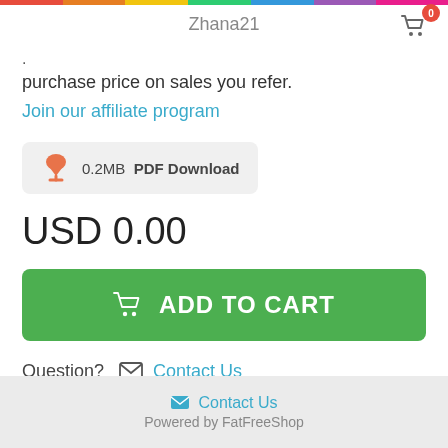Zhana21
purchase price on sales you refer.
Join our affiliate program
[Figure (infographic): PDF download badge showing 0.2MB PDF Download with orange cloud icon]
USD 0.00
[Figure (infographic): Green ADD TO CART button with cart icon]
Question? Contact Us
Contact Us
Powered by FatFreeShop